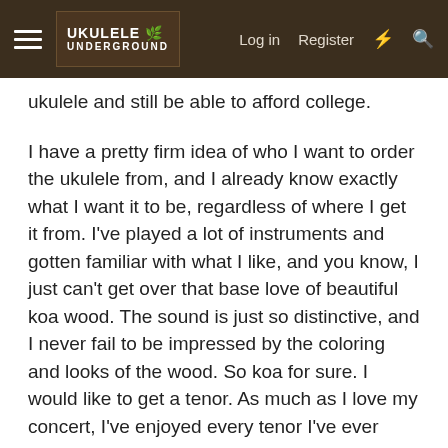Ukulele Underground — Log in  Register
ukulele and still be able to afford college.
I have a pretty firm idea of who I want to order the ukulele from, and I already know exactly what I want it to be, regardless of where I get it from. I've played a lot of instruments and gotten familiar with what I like, and you know, I just can't get over that base love of beautiful koa wood. The sound is just so distinctive, and I never fail to be impressed by the coloring and looks of the wood. So koa for sure. I would like to get a tenor. As much as I love my concert, I've enjoyed every tenor I've ever played, and I quite enjoy playing my eleuke. I'd love to have a great acoustic tenor at this point. And as far as a completely aesthetic issue... MAN I love slotted headstocks. I just can't get over them! If I'm going to be spending this much on an instrument, by golly it's going to have slots in the dang headstock! I also want to have a small personal touch, a symbol inlay on the fretboard to make this uniquely MY instrument. I'll leave that